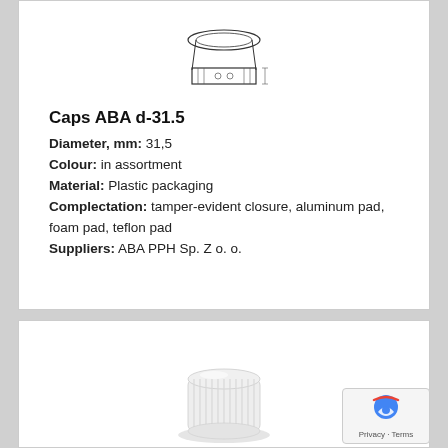[Figure (engineering-diagram): Technical cross-section/schematic drawing of Caps ABA d-31.5 cap, showing top and side views with dimension lines]
Caps ABA d-31.5
Diameter, mm: 31,5
Colour: in assortment
Material: Plastic packaging
Complectation: tamper-evident closure, aluminum pad, foam pad, teflon pad
Suppliers: ABA PPH Sp. Z o. o.
[Figure (photo): Photograph of a white plastic screw cap (Caps ABA d-31.5) shown from a slight angle, displaying ribbed sides and flat top]